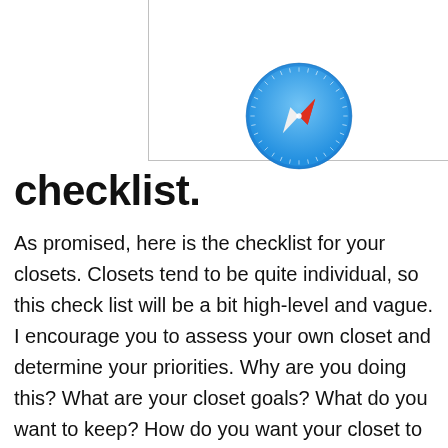[Figure (screenshot): A browser/app panel with Safari compass icon at the bottom center, partially cropped at top]
checklist.
As promised, here is the checklist for your closets. Closets tend to be quite individual, so this check list will be a bit high-level and vague. I encourage you to assess your own closet and determine your priorities. Why are you doing this? What are your closet goals? What do you want to keep? How do you want your closet to look? How do you want to feel about your